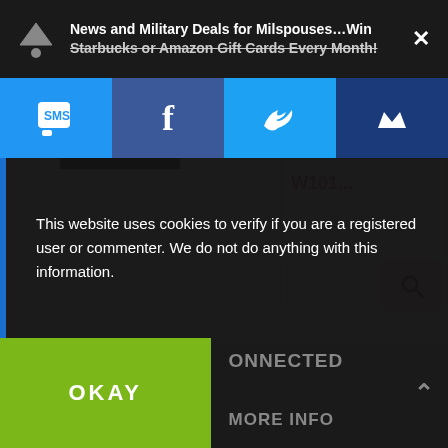News and Military Deals for Milspouses…Win Starbucks or Amazon Gift Cards Every Month!
[Figure (screenshot): Social sharing toolbar with SMS, Facebook, Twitter, and crown/brand icons on colored backgrounds]
W101...
[Figure (screenshot): Search input box with pink search button containing magnifying glass icon]
This website uses cookies to verify if you are a registered user or commenter. We do not do anything with this information.
OKAY
MORE INFO
ONNECTED